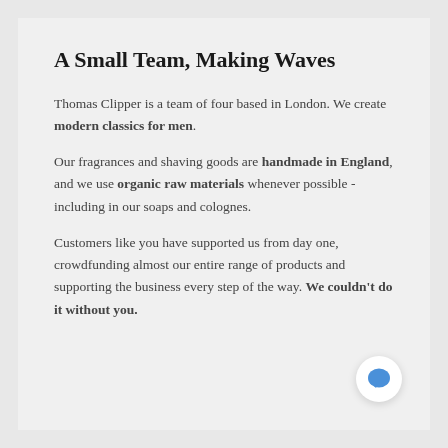A Small Team, Making Waves
Thomas Clipper is a team of four based in London. We create modern classics for men.
Our fragrances and shaving goods are handmade in England, and we use organic raw materials whenever possible - including in our soaps and colognes.
Customers like you have supported us from day one, crowdfunding almost our entire range of products and supporting the business every step of the way. We couldn't do it without you.
[Figure (illustration): Blue chat bubble icon in a white circular button at bottom right]